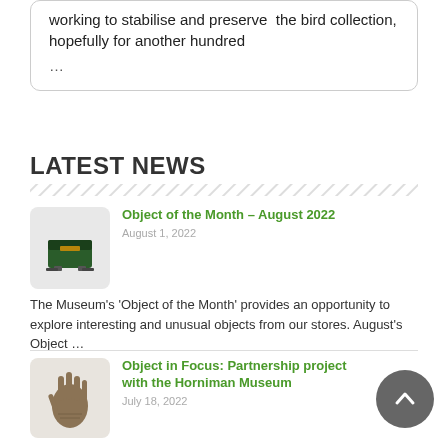working to stabilise and preserve the bird collection, hopefully for another hundred
LATEST NEWS
Object of the Month – August 2022
August 1, 2022
The Museum's 'Object of the Month' provides an opportunity to explore interesting and unusual objects from our stores. August's Object …
Object in Focus: Partnership project with the Horniman Museum
July 18, 2022